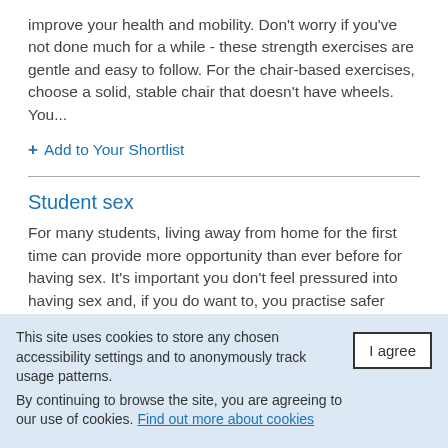improve your health and mobility. Don't worry if you've not done much for a while - these strength exercises are gentle and easy to follow. For the chair-based exercises, choose a solid, stable chair that doesn't have wheels. You...
+ Add to Your Shortlist
Student sex
For many students, living away from home for the first time can provide more opportunity than ever before for having sex. It's important you don't feel pressured into having sex and, if you do want to, you practise safer
This site uses cookies to store any chosen accessibility settings and to anonymously track usage patterns.
By continuing to browse the site, you are agreeing to our use of cookies. Find out more about cookies